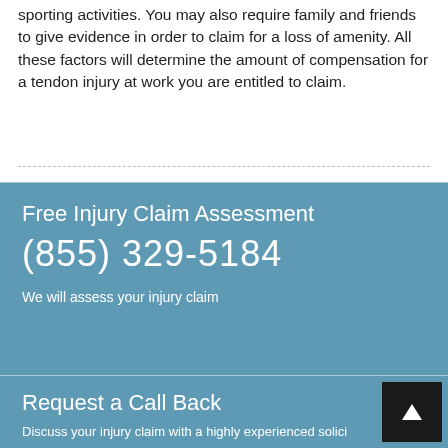sporting activities. You may also require family and friends to give evidence in order to claim for a loss of amenity. All these factors will determine the amount of compensation for a tendon injury at work you are entitled to claim.
Free Injury Claim Assessment
(855) 329-5184
We will assess your injury claim
Request a Call Back
Discuss your injury claim with a highly experienced solici...
Your name